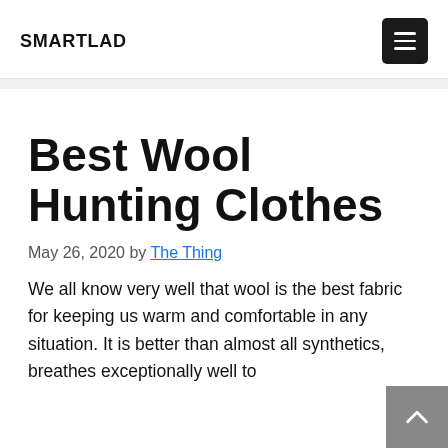SMARTLAD
Best Wool Hunting Clothes
May 26, 2020 by The Thing
We all know very well that wool is the best fabric for keeping us warm and comfortable in any situation. It is better than almost all synthetics, breathes exceptionally well to